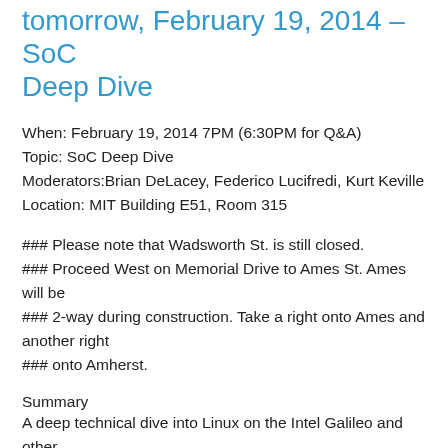tomorrow, February 19, 2014 – SoC Deep Dive
When: February 19, 2014 7PM (6:30PM for Q&A)
Topic: SoC Deep Dive
Moderators:Brian DeLacey, Federico Lucifredi, Kurt Keville
Location: MIT Building E51, Room 315
### Please note that Wadsworth St. is still closed.
### Proceed West on Memorial Drive to Ames St. Ames will be
### 2-way during construction. Take a right onto Ames and another right
### onto Amherst.
Summary
A deep technical dive into Linux on the Intel Galileo and other
System-on-a-Chip (SoC) platforms
Abstract
We hold an interactive and deep technical dive into Linux on